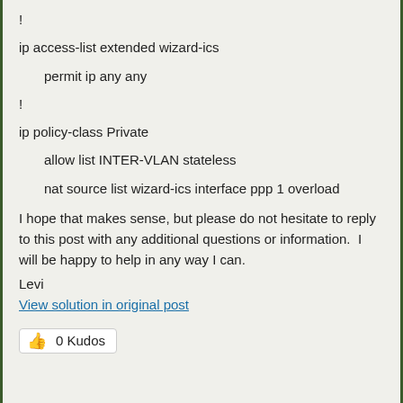!
ip access-list extended wizard-ics
permit ip any any
!
ip policy-class Private
allow list INTER-VLAN stateless
nat source list wizard-ics interface ppp 1 overload
I hope that makes sense, but please do not hesitate to reply to this post with any additional questions or information.  I will be happy to help in any way I can.
Levi
View solution in original post